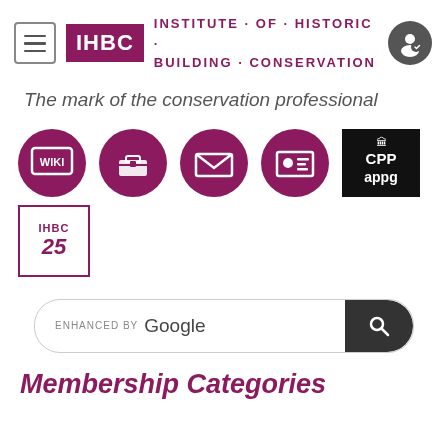[Figure (logo): IHBC logo with menu icon, IHBC text in purple box, Institute of Historic Building Conservation text, and user account icon]
The mark of the conservation professional
[Figure (infographic): Row of circular icons: WIKI, toolbox, envelope, ID card, CPP appg logo, and IHBC 25 anniversary box]
[Figure (screenshot): Enhanced by Google search bar with search button]
Membership Categories